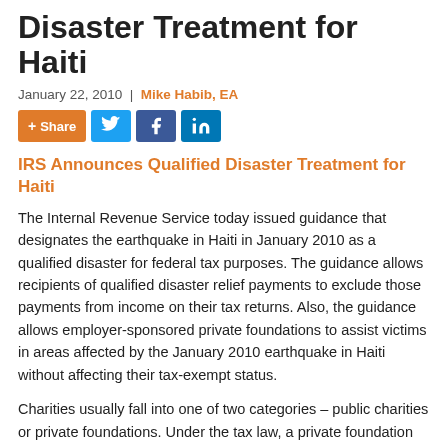Disaster Treatment for Haiti
January 22, 2010 | Mike Habib, EA
[Figure (other): Social share buttons: + Share, Twitter, Facebook, LinkedIn]
IRS Announces Qualified Disaster Treatment for Haiti
The Internal Revenue Service today issued guidance that designates the earthquake in Haiti in January 2010 as a qualified disaster for federal tax purposes. The guidance allows recipients of qualified disaster relief payments to exclude those payments from income on their tax returns. Also, the guidance allows employer-sponsored private foundations to assist victims in areas affected by the January 2010 earthquake in Haiti without affecting their tax-exempt status.
Charities usually fall into one of two categories – public charities or private foundations. Under the tax law, a private foundation that is employer-sponsored may make qualified disaster relief payments to employees affected by a qualified